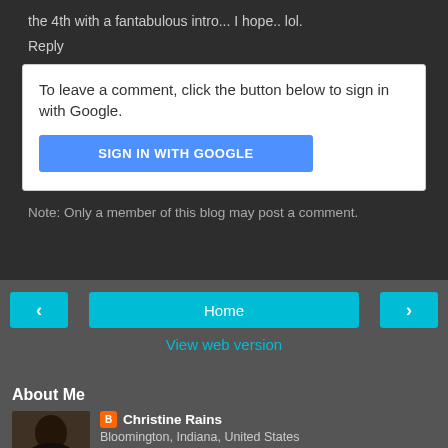the 4th with a fantabulous intro... I hope.. lol.
Reply
To leave a comment, click the button below to sign in with Google.
SIGN IN WITH GOOGLE
Note: Only a member of this blog may post a comment.
Home
View web version
About Me
Christine Rains
Bloomington, Indiana, United States
I'm a writer, blogger, and geek mom. I write paranormal romance and urban fantasy. I love a dark and gritty story. I